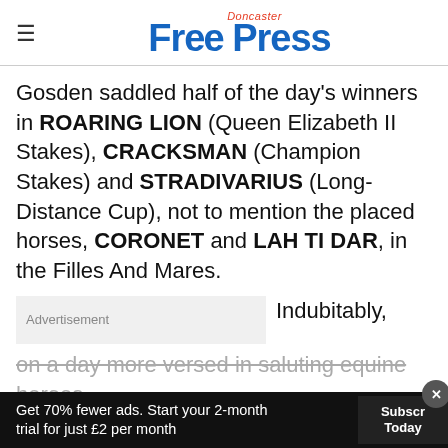Doncaster Free Press
Gosden saddled half of the day's winners in ROARING LION (Queen Elizabeth II Stakes), CRACKSMAN (Champion Stakes) and STRADIVARIUS (Long-Distance Cup), not to mention the placed horses, CORONET and LAH TI DAR, in the Filles And Mares.
Indubitably, on a day more versed in saluting equine heroes (Frankel and the Arcs spring comfortably to mind), this one
[Figure (screenshot): WSJ Student Summer Offer advertisement with Open button]
Get 70% fewer ads. Start your 2-month trial for just £2 per month